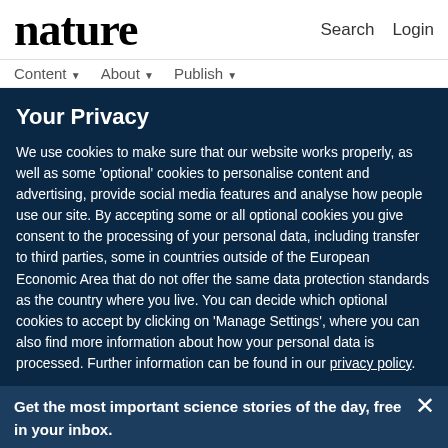nature  Search  Login
Content ↓  About ↓  Publish ↓
Your Privacy
We use cookies to make sure that our website works properly, as well as some 'optional' cookies to personalise content and advertising, provide social media features and analyse how people use our site. By accepting some or all optional cookies you give consent to the processing of your personal data, including transfer to third parties, some in countries outside of the European Economic Area that do not offer the same data protection standards as the country where you live. You can decide which optional cookies to accept by clicking on 'Manage Settings', where you can also find more information about how your personal data is processed. Further information can be found in our privacy policy.
Get the most important science stories of the day, free in your inbox.
Sign up for Nature Briefing